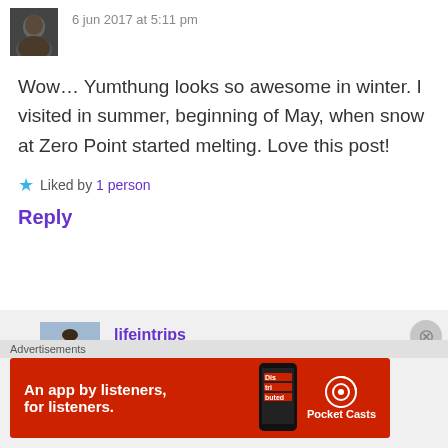6 jun 2017 at 5:11 pm
Wow… Yumthung looks so awesome in winter. I visited in summer, beginning of May, when snow at Zero Point started melting. Love this post!
Liked by 1 person
Reply
lifeintrips
6 jun 2017 at 5:12 pm
Advertisements
[Figure (photo): Avatar photo of first commenter - dark photo of person]
[Figure (photo): Avatar photo of lifeintrips - woman standing near water]
[Figure (illustration): Pocket Casts advertisement banner - red background with app phone image and text 'An app by listeners, for listeners.']